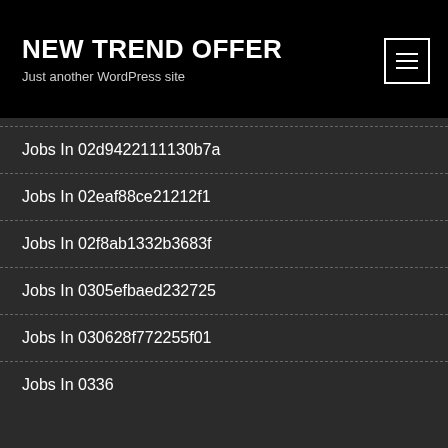NEW TREND OFFER
Just another WordPress site
Jobs In 02d9422111130b7a
Jobs In 02eaf88ce21212f1
Jobs In 02f8ab1332b3683f
Jobs In 0305efbaed232725
Jobs In 030628f772255f01
Jobs In 0336...